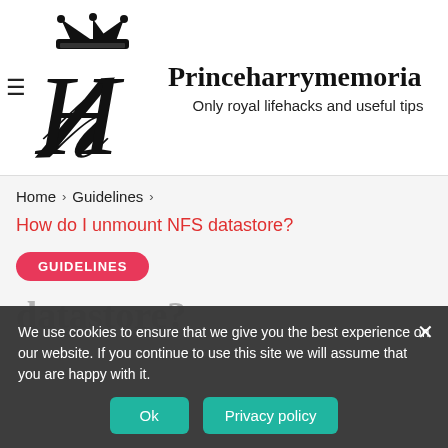[Figure (logo): Stylized cursive letter H with a crown above it, forming the Princeharrymemorial site logo]
Princeharrymemoria…
Only royal lifehacks and useful tips
Home › Guidelines ›
How do I unmount NFS datastore?
GUIDELINES
datastore?
We use cookies to ensure that we give you the best experience on our website. If you continue to use this site we will assume that you are happy with it.